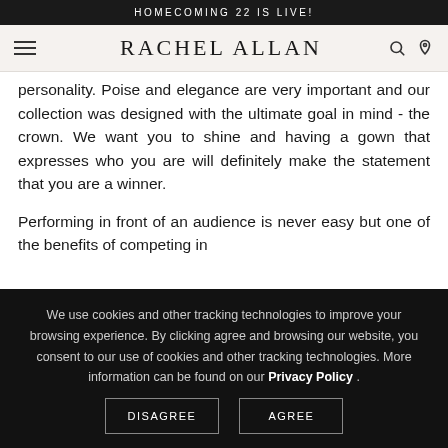HOMECOMING 22 IS LIVE!
RACHEL ALLAN
personality. Poise and elegance are very important and our collection was designed with the ultimate goal in mind - the crown. We want you to shine and having a gown that expresses who you are will definitely make the statement that you are a winner.
Performing in front of an audience is never easy but one of the benefits of competing in
We use cookies and other tracking technologies to improve your browsing experience. By clicking agree and browsing our website, you consent to our use of cookies and other tracking technologies. More information can be found on our Privacy Policy .